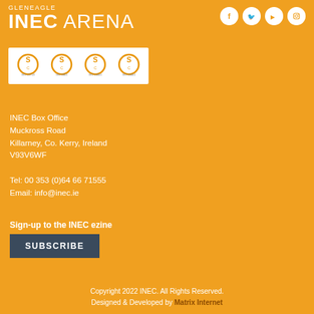[Figure (logo): Gleneagle INEC Arena logo with social media icons (Facebook, Twitter, YouTube, Instagram)]
[Figure (logo): Four ISO certification badges on white background]
INEC Box Office
Muckross Road
Killarney, Co. Kerry, Ireland
V93V6WF
Tel: 00 353 (0)64 66 71555
Email: info@inec.ie
Sign-up to the INEC ezine
SUBSCRIBE
Copyright 2022 INEC. All Rights Reserved.
Designed & Developed by Matrix Internet